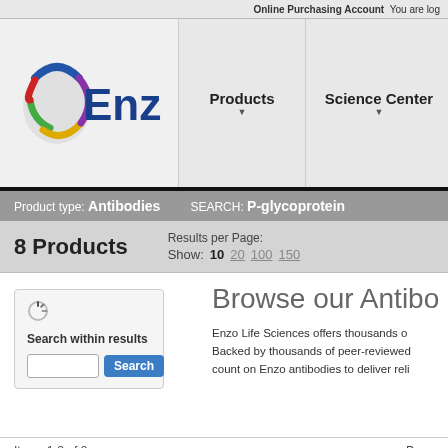Online Purchasing Account  You are log
[Figure (logo): Enzo Life Sciences logo with colorful circular icon and blue bold 'Enzo' text]
Products ▾  Science Center ▾  Support
Product type: Antibodies   SEARCH: P-glycoprotein
8 Products   Results per Page: Show: 10  20  100  150
Search within results
Browse our Antibo
Enzo Life Sciences offers thousands o... Backed by thousands of peer-reviewed... count on Enzo antibodies to deliver reli...
Items 1-8 of 8   Page
P-glycoprotein Recomb